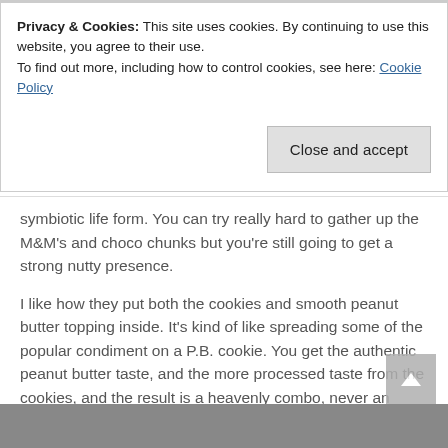Privacy & Cookies: This site uses cookies. By continuing to use this website, you agree to their use.
To find out more, including how to control cookies, see here: Cookie Policy
Close and accept
symbiotic life form. You can try really hard to gather up the M&M’s and choco chunks but you’re still going to get a strong nutty presence.
I like how they put both the cookies and smooth peanut butter topping inside. It’s kind of like spreading some of the popular condiment on a P.B. cookie. You get the authentic peanut butter taste, and the more processed taste from the cookies, and the result is a heavenly combo, never an overkill.
[Figure (photo): Partial bottom image, appears to be a food photo (cookie/dessert related)]